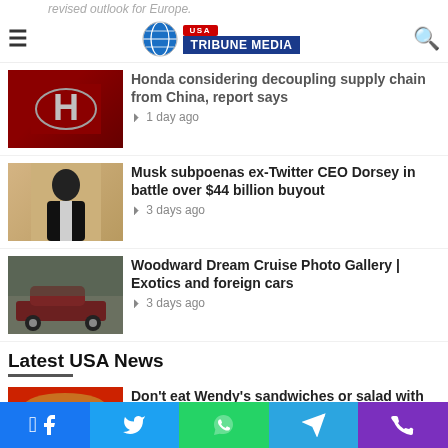revised outlook for Europe.
[Figure (logo): USA Tribune Media logo with globe icon, red USA badge, and blue banner]
Honda considering decoupling supply chain from China, report says
1 day ago
Musk subpoenas ex-Twitter CEO Dorsey in battle over $44 billion buyout
3 days ago
Woodward Dream Cruise Photo Gallery | Exotics and foreign cars
3 days ago
Latest USA News
Don’t eat Wendy’s sandwiches or salad with romaine lettuce, Consumer Reports warns